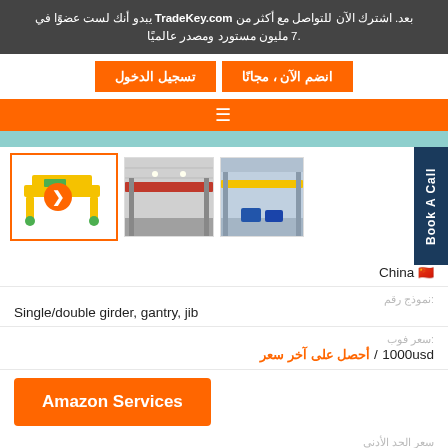بعد. اشترك الآن للتواصل مع أكثر من TradeKey.com يبدو أنك لست عضوًا في 7. مليون مستورد ومصدر عالميًا.
تسجيل الدخول | انضم الآن ، مجانا
[Figure (photo): Product image gallery showing three images: (1) yellow double-girder crane diagram, (2) red overhead crane in warehouse, (3) blue overhead crane in industrial facility]
بلد: China 🇨🇳
نموذج رقم: Single/double girder, gantry, jib
سعر فوب: 1000usd / أحصل على آخر سعر
Amazon Services
سعر الحد الأدنى